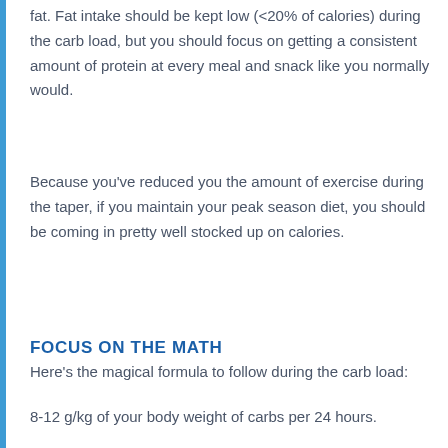fat. Fat intake should be kept low (<20% of calories) during the carb load, but you should focus on getting a consistent amount of protein at every meal and snack like you normally would.
Because you've reduced you the amount of exercise during the taper, if you maintain your peak season diet, you should be coming in pretty well stocked up on calories.
FOCUS ON THE MATH
Here's the magical formula to follow during the carb load:
8-12 g/kg of your body weight of carbs per 24 hours.